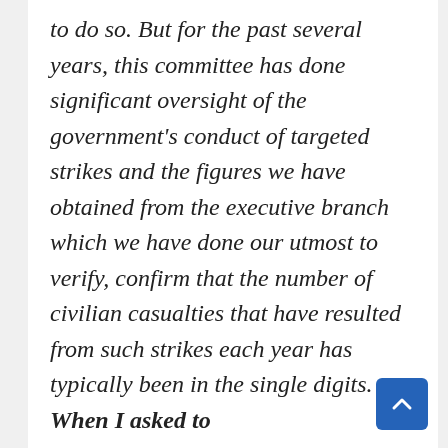to do so. But for the past several years, this committee has done significant oversight of the government's conduct of targeted strikes and the figures we have obtained from the executive branch which we have done our utmost to verify, confirm that the number of civilian casualties that have resulted from such strikes each year has typically been in the single digits. When I asked to